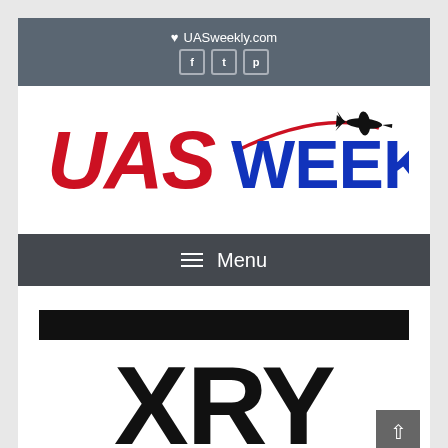♥ UASweekly.com
[Figure (logo): UAS WEEKLY.COM logo with red italic UAS text, blue WEEKLY.COM text, red arc and drone silhouette]
≡ Menu
[Figure (logo): Black banner bar followed by large bold XRY text in dark color]